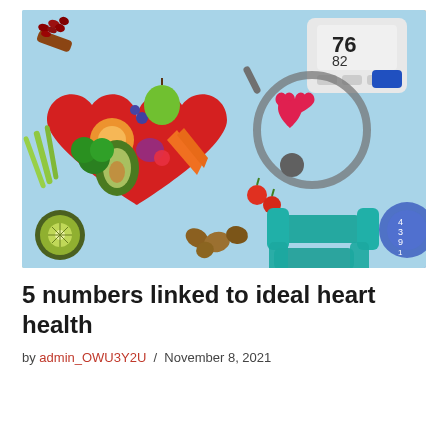[Figure (photo): Overhead view of healthy lifestyle items on a light blue background: a red heart-shaped plate filled with colorful vegetables and fruits (avocado, carrots, broccoli, apple, oranges, blueberries, onion, radish), surrounding items including celery, kiwi, nuts, cherry tomatoes, red beans with a wooden scoop, a blood pressure monitor, a stethoscope with a red heart decoration, teal dumbbells, and a blue measuring tape.]
5 numbers linked to ideal heart health
by admin_OWU3Y2U  /  November 8, 2021